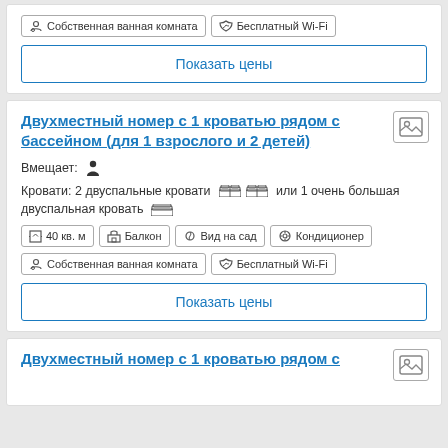Собственная ванная комната | Бесплатный Wi-Fi
Показать цены
Двухместный номер с 1 кроватью рядом с бассейном (для 1 взрослого и 2 детей)
Вмещает: 1 взрослый
Кровати: 2 двуспальные кровати или 1 очень большая двуспальная кровать
40 кв. м | Балкон | Вид на сад | Кондиционер
Собственная ванная комната | Бесплатный Wi-Fi
Показать цены
Двухместный номер с 1 кроватью рядом с